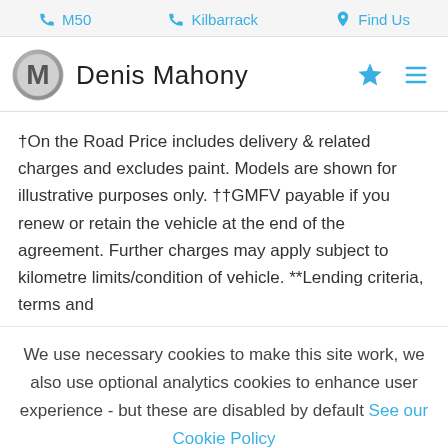M50  Kilbarrack  Find Us
Denis Mahony
†On the Road Price includes delivery & related charges and excludes paint. Models are shown for illustrative purposes only. ††GMFV payable if you renew or retain the vehicle at the end of the agreement. Further charges may apply subject to kilometre limits/condition of vehicle. **Lending criteria, terms and
We use necessary cookies to make this site work, we also use optional analytics cookies to enhance user experience - but these are disabled by default See our Cookie Policy
Accept All  Reject All  Settings